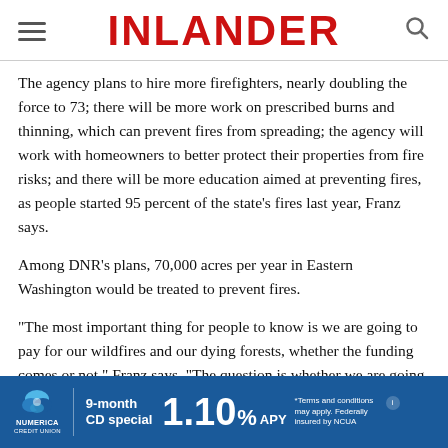INLANDER
The agency plans to hire more firefighters, nearly doubling the force to 73; there will be more work on prescribed burns and thinning, which can prevent fires from spreading; the agency will work with homeowners to better protect their properties from fire risks; and there will be more education aimed at preventing fires, as people started 95 percent of the state's fires last year, Franz says.
Among DNR's plans, 70,000 acres per year in Eastern Washington would be treated to prevent fires.
"The most important thing for people to know is we are going to pay for our wildfires and our dying forests, whether the funding comes or not," Franz says. "The question is whether we are going to pay to react or we're going to pay to be proactive and protect our
[Figure (infographic): Numerica Credit Union advertisement banner: 9-month CD special 1.10% APY. Terms and conditions may apply. Federally insured by NCUA.]